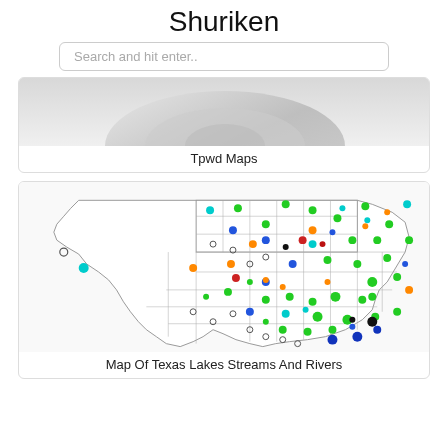Shuriken
Search and hit enter..
[Figure (photo): Partial cropped image, appears to show a metallic/silver object, top portion cut off]
Tpwd Maps
[Figure (map): Map of Texas showing county boundaries with colored dots indicating lakes, streams, and rivers locations. Dots are green, blue, cyan, orange, red, and black.]
Map Of Texas Lakes Streams And Rivers